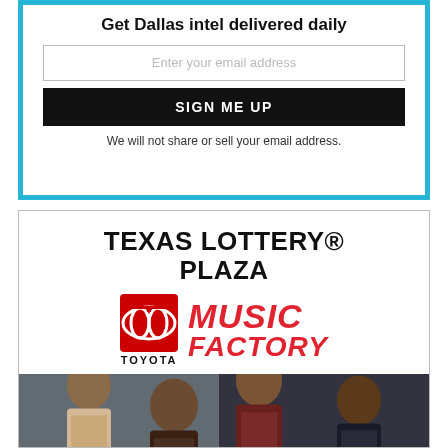Get Dallas intel delivered daily
Enter your email address
SIGN ME UP
We will not share or sell your email address.
TEXAS LOTTERY® PLAZA
[Figure (logo): Toyota Music Factory logo with Toyota oval emblem and red italic MUSIC FACTORY text]
[Figure (photo): Group of four Black men in semi-formal attire posing for a promotional photo]